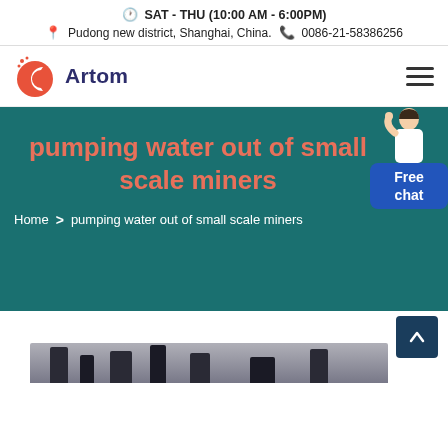SAT - THU (10:00 AM - 6:00PM)
Pudong new district, Shanghai, China.  0086-21-58386256
[Figure (logo): Artom company logo with red/orange circular C icon and dark blue Artom text]
pumping water out of small scale miners
Home > pumping water out of small scale miners
[Figure (photo): Partial view of industrial machinery at the bottom of the page]